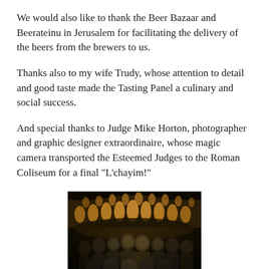We would also like to thank the Beer Bazaar and Beerateinu in Jerusalem for facilitating the delivery of the beers from the brewers to us.
Thanks also to my wife Trudy, whose attention to detail and good taste made the Tasting Panel a culinary and social success.
And special thanks to Judge Mike Horton, photographer and graphic designer extraordinaire, whose magic camera transported the Esteemed Judges to the Roman Coliseum for a final "L'chayim!"
[Figure (photo): Group photo of approximately 13 people posing together in front of the illuminated Roman Coliseum at night, holding drinks and smiling.]